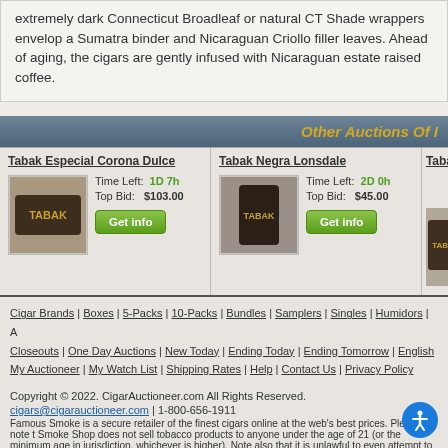extremely dark Connecticut Broadleaf or natural CT Shade wrappers envelop a Sumatra binder and Nicaraguan Criollo filler leaves. Ahead of aging, the cigars are gently infused with Nicaraguan estate raised coffee.
Other Auctions Of I...
Tabak Especial Corona Dulce
Time Left: 1D 7h
Top Bid: $103.00
Get info
Tabak Negra Lonsdale
Time Left: 2D 0h
Top Bid: $45.00
Get info
Tabak B...
Cigar Brands | Boxes | 5-Packs | 10-Packs | Bundles | Samplers | Singles | Humidors | A...
Closeouts | One Day Auctions | New Today | Ending Today | Ending Tomorrow | English...
My Auctioneer | My Watch List | Shipping Rates | Help | Contact Us | Privacy Policy
Copyright © 2022. CigarAuctioneer.com All Rights Reserved.
cigars@cigarauctioneer.com | 1-800-656-1911
Famous Smoke is a secure retailer of the finest cigars online at the web's best prices. Please note t... Smoke Shop does not sell tobacco products to anyone under the age of 21 (or the minimum age in... jurisdiction, whichever is higher). Note also that it is unlawful to even attempt to purchase cigars be... minimum age. If you are not of legal age, please do not enter our site. For more information on how... age click here.